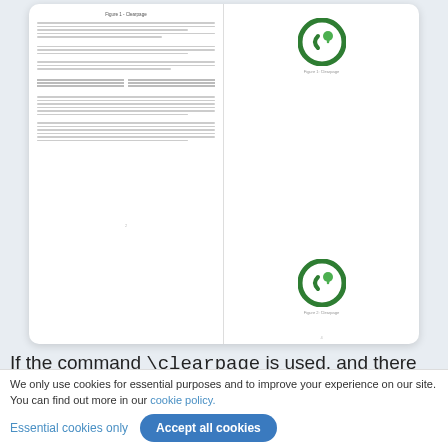[Figure (screenshot): Two-page document preview showing left page with text content and right page with two Overleaf/LaTeX logos (green circular icons). Left page contains document title, paragraphs, and a small table. Right page shows two green circular logos with captions 'Figure 1: Clearpage' and 'Figure 2: Clearpage'.]
If the command \clearpage is used, and there are stacked floating elements, such as tables or figures, they will be flushed out before starting the new page. In the example above the same image is inserted three times. Since the page break is inserted before all the figures are displayed, remaining images are inserted in an empty page
We only use cookies for essential purposes and to improve your experience on our site. You can find out more in our cookie policy.
Essential cookies only
Accept all cookies